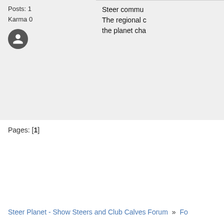Posts: 1
Karma 0
Steer commu...
The regional c...
the planet cha...
Pages: [1]
Steer Planet - Show Steers and Club Calves Forum » Fo...